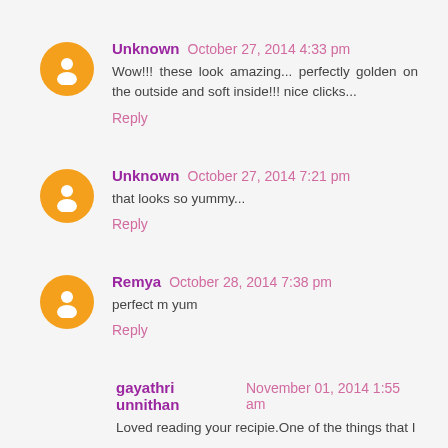Unknown October 27, 2014 4:33 pm
Wow!!! these look amazing... perfectly golden on the outside and soft inside!!! nice clicks...
Reply
Unknown October 27, 2014 7:21 pm
that looks so yummy...
Reply
Remya October 28, 2014 7:38 pm
perfect m yum
Reply
gayathri unnithan November 01, 2014 1:55 am
Loved reading your recipie.One of the things that I